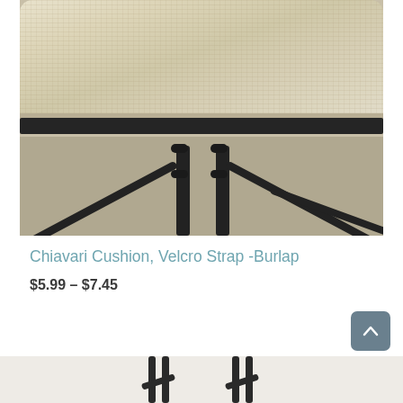[Figure (photo): Close-up photo of a Chiavari chair cushion with burlap/linen fabric on a dark bamboo-style metal frame, showing the seat cushion from above and the black metal legs and crossbars below.]
Chiavari Cushion, Velcro Strap -Burlap
$5.99 – $7.45
[Figure (photo): Partial bottom view of chair legs — dark metal bamboo-style legs visible at the bottom edge of the page.]